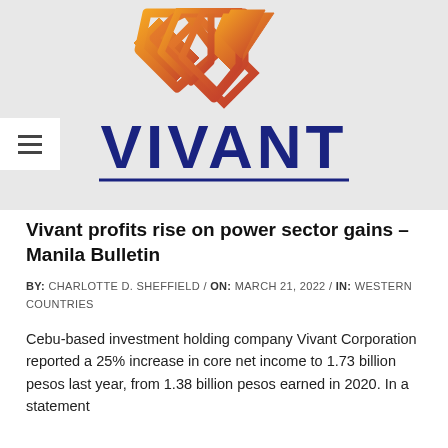[Figure (logo): Vivant Corporation logo — orange/red geometric diamond-like symbol above bold dark blue 'VIVANT' text with a horizontal underline, on a light grey background]
Vivant profits rise on power sector gains – Manila Bulletin
BY:  CHARLOTTE D. SHEFFIELD  /  ON:  MARCH 21, 2022  /  IN:  WESTERN COUNTRIES
Cebu-based investment holding company Vivant Corporation reported a 25% increase in core net income to 1.73 billion pesos last year, from 1.38 billion pesos earned in 2020. In a statement